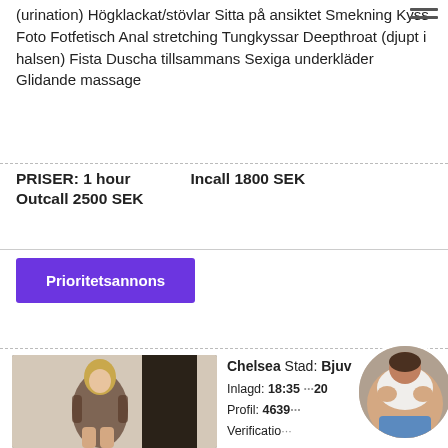(urination) Högklackat/stövlar Sitta på ansiktet Smekning Kyss Foto Fotfetisch Anal stretching Tungkyssar Deepthroat (djupt i halsen) Fista Duscha tillsammans Sexiga underkläder Glidande massage
PRISER: 1 hour   Incall 1800 SEK
Outcall 2500 SEK
Prioritetsannons
[Figure (photo): Blonde woman in black sheer bodysuit posing against wall with dark framed mirror]
Chelsea Stad: Bjuv
Inlagd: 18:35 ...20
Profil: 4639...
Verification...
Incall & Ou...
Info
Telefon: +46XXX10475
[Figure (photo): Circular thumbnail of a woman in white top]